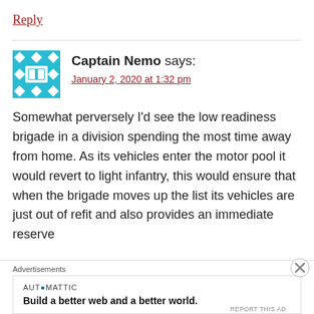Reply
[Figure (illustration): Cyan/teal avatar icon with geometric diamond and square pattern, representing user Captain Nemo]
Captain Nemo says:
January 2, 2020 at 1:32 pm
Somewhat perversely I'd see the low readiness brigade in a division spending the most time away from home. As its vehicles enter the motor pool it would revert to light infantry, this would ensure that when the brigade moves up the list its vehicles are just out of refit and also provides an immediate reserve
Advertisements
AUTOMATTIC
Build a better web and a better world.